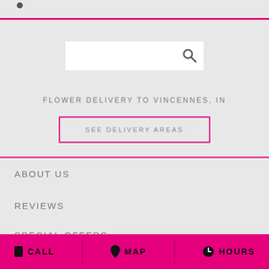[Figure (screenshot): Search bar with magnifying glass icon on grey background]
FLOWER DELIVERY TO VINCENNES, IN
SEE DELIVERY AREAS
ABOUT US
REVIEWS
SPECIAL OFFERS
CONTACT US
CALL   MAP   HOURS